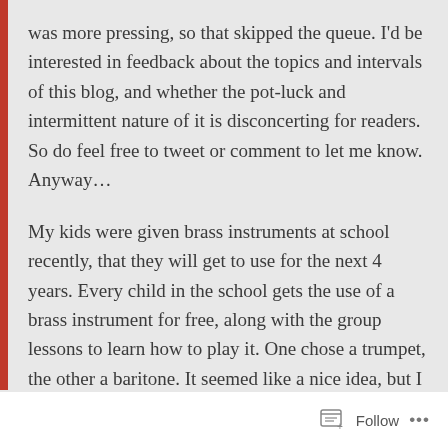was more pressing, so that skipped the queue. I'd be interested in feedback about the topics and intervals of this blog, and whether the pot-luck and intermittent nature of it is disconcerting for readers. So do feel free to tweet or comment to let me know. Anyway…
My kids were given brass instruments at school recently, that they will get to use for the next 4 years. Every child in the school gets the use of a brass instrument for free, along with the group lessons to learn how to play it. One chose a trumpet, the other a baritone. It seemed like a nice idea, but I wondered why there was a scheme to